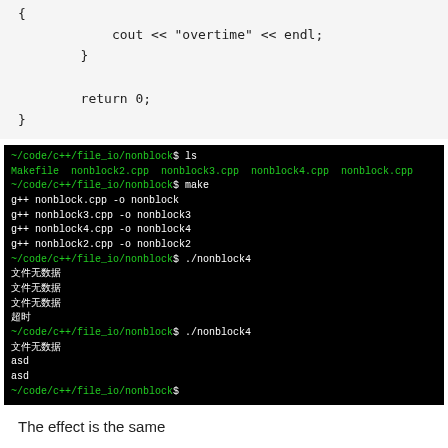{
            cout << "overtime" << endl;
        }

        return 0;
}
[Figure (screenshot): Terminal window showing ls, make, and ./nonblock4 commands with output including Chinese text (文件无数据, 超时) and 'asd' lines]
The effect is the same
Bit or
...